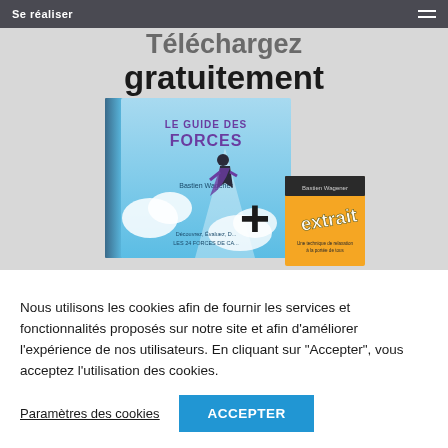Se réaliser
Téléchargez gratuitement
[Figure (illustration): Book cover 'Le Guide des Forces' by Bastien Wagener with a superhero figure flying, plus a bonus 'extrait' booklet, displayed on a light grey background with a large plus sign between them.]
Nous utilisons les cookies afin de fournir les services et fonctionnalités proposés sur notre site et afin d'améliorer l'expérience de nos utilisateurs. En cliquant sur "Accepter", vous acceptez l'utilisation des cookies.
Paramètres des cookies
ACCEPTER